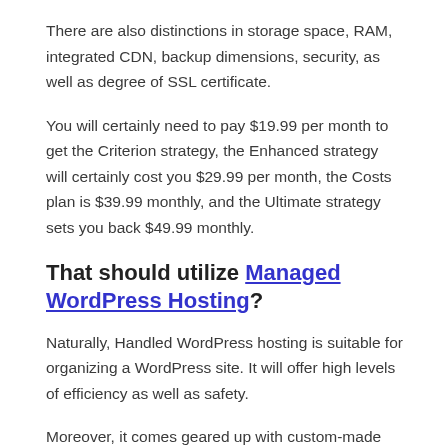There are also distinctions in storage space, RAM, integrated CDN, backup dimensions, security, as well as degree of SSL certificate.
You will certainly need to pay $19.99 per month to get the Criterion strategy, the Enhanced strategy will certainly cost you $29.99 per month, the Costs plan is $39.99 monthly, and the Ultimate strategy sets you back $49.99 monthly.
That should utilize Managed WordPress Hosting?
Naturally, Handled WordPress hosting is suitable for organizing a WordPress site. It will offer high levels of efficiency as well as safety.
Moreover, it comes geared up with custom-made tools as well as advanced cPanel, making it very easy for you to manage your website.